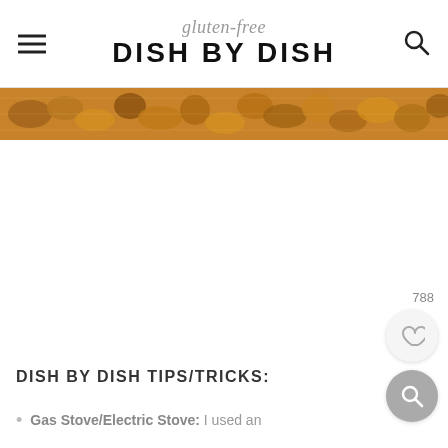gluten-free DISH BY DISH
[Figure (photo): Close-up photo of candied nuts on a baking tray with parchment paper]
788
DISH BY DISH TIPS/TRICKS:
Gas Stove/Electric Stove: I used an